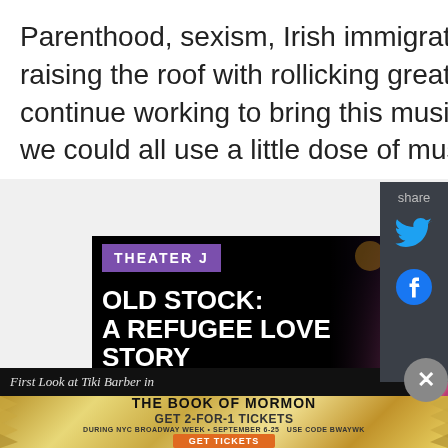Parenthood, sexism, Irish immigration, and family itself while raising the roof with rollicking great music! I cannot wait to continue working to bring this musical to life, especially now when we could all use a little dose of music and whiskey."
[Figure (screenshot): Theater J advertisement for 'Old Stock: A Refugee Love Story' by Hannah Moscovitch, Ben Caplan, and Christian Barry. September 7-25, 2022. Features a performer with pink curly hair, long beard, purple top hat, holding a microphone.]
[Figure (screenshot): Share sidebar with Twitter and Facebook icons on dark gray background.]
[Figure (screenshot): Advertisement for The Book of Mormon musical. 'GET 2-FOR-1 TICKETS DURING NYC BROADWAY WEEK • SEPTEMBER 6-25 USE CODE BWAYWK' with GET TICKETS button. Gold starburst background.]
First Look at Tiki Barber in